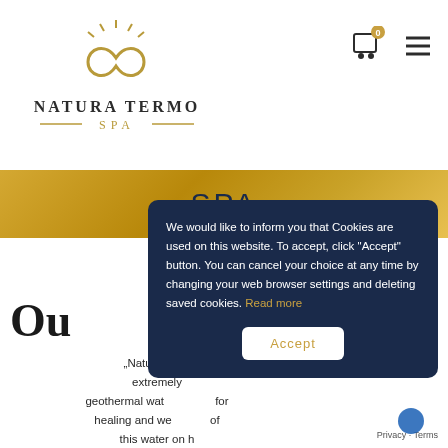[Figure (logo): Natura Termo SPA logo with infinity/laurel icon above text]
[Figure (infographic): Shopping cart icon with badge showing 0, and hamburger menu icon]
[Figure (photo): Golden/amber banner background with text SPA]
SPA
Ou
„Natura Term… extremely … geothermal wat… for healing and we… of this water on h… many Lithuani…
We would like to inform you that Cookies are used on this website. To accept, click "Accept" button. You can cancel your choice at any time by changing your web browser settings and deleting saved cookies. Read more
Accept
Privacy · Terms